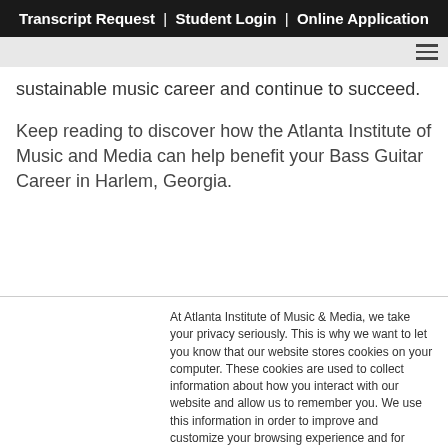Transcript Request  |  Student Login  |  Online Application
sustainable music career and continue to succeed.
Keep reading to discover how the Atlanta Institute of Music and Media can help benefit your Bass Guitar Career in Harlem, Georgia.
At Atlanta Institute of Music & Media, we take your privacy seriously. This is why we want to let you know that our website stores cookies on your computer. These cookies are used to collect information about how you interact with our website and allow us to remember you. We use this information in order to improve and customize your browsing experience and for analytics and metrics about our visitors both on this website and other media. To find out more about the cookies we use, you can check out our Privacy Policy.